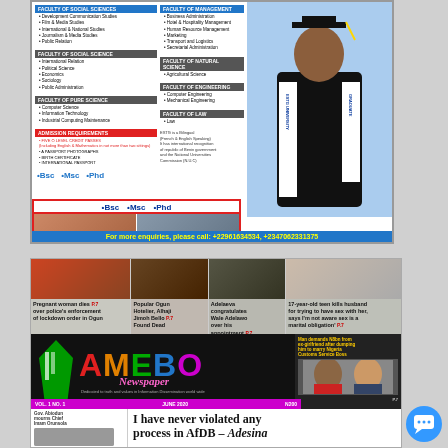[Figure (infographic): University advertisement for ESTG University showing faculties, admission requirements, degree programs (BSc, MSc, PhD), graduate photo, student photos, and contact information. Contact: +22961634534, +2347062331375]
[Figure (infographic): Amebo Newspaper front page collage showing headlines: 'Pregnant woman dies over police's enforcement of lockdown order in Ogun', 'Popular Ogun Hotelier, Alhaji Jimoh Bello Found Dead', 'Adelaeva congratulates Wale Adelawa over his appointment', '17-year-old teen kills husband for trying to have sex with her, says I'm not aware sex is a marital obligation', 'Man demands N8bn from ex-girlfriend after dumping him to marry Nigeria Customs Service Boss', 'I have never violated any process in AfDB – Adesina'. AMEBO Newspaper masthead with colorful letters, Vol. 1 No. 1, June 2020, N200.]